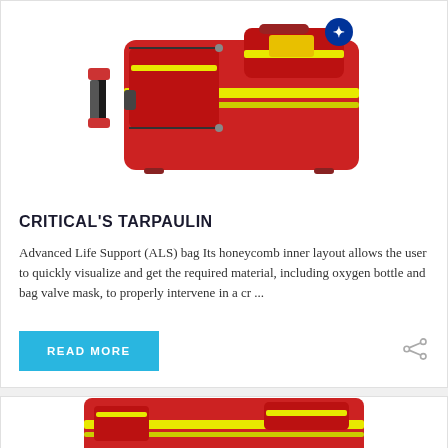[Figure (photo): Red Advanced Life Support (ALS) emergency bag with yellow reflective stripes, shoulder strap, multiple pockets and zippers, and blue Star of Life symbol on the top right corner.]
CRITICAL'S TARPAULIN
Advanced Life Support (ALS) bag Its honeycomb inner layout allows the user to quickly visualize and get the required material, including oxygen bottle and bag valve mask, to properly intervene in a cr ...
READ MORE
[Figure (photo): Partial view of a red emergency medical bag with yellow reflective stripes, partially visible at the bottom of the page.]